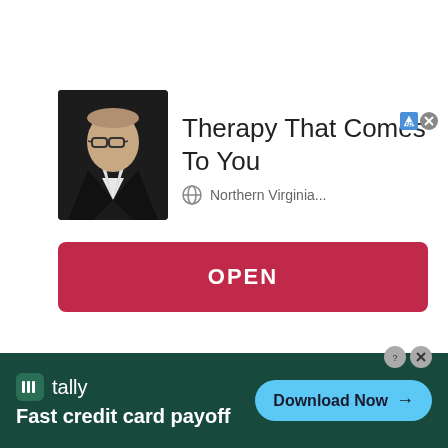[Figure (screenshot): Advertisement with photo of a man in a dark suit and glasses, with Ad label badge]
Therapy That Comes To You
Northern Virginia...
OPEN
[Figure (screenshot): Tally app advertisement banner with dark green background showing 'Fast credit card payoff' and Download Now button]